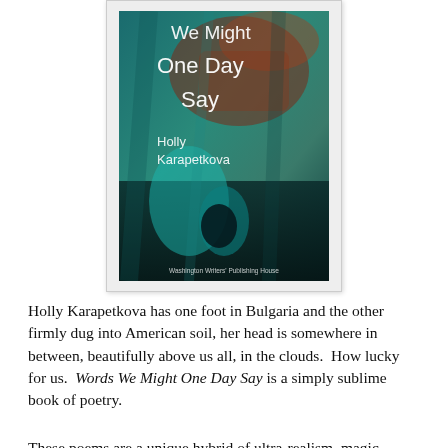[Figure (illustration): Book cover of 'Words We Might One Day Say' by Holly Karapetkova, published by Washington Writers' Publishing House. Cover features abstract teal, rust, and dark blue textured art. Title and author name in white text.]
Holly Karapetkova has one foot in Bulgaria and the other firmly dug into American soil, her head is somewhere in between, beautifully above us all, in the clouds.  How lucky for us.  Words We Might One Day Say is a simply sublime book of poetry.
These poems are a unique hybrid of ultra-realism, magic-realism, political manifesto, romantic ballad, surrealist fancy — Karapetkova has it all going on in these engaging, insightful and explosive poems.  And how blooding delightful